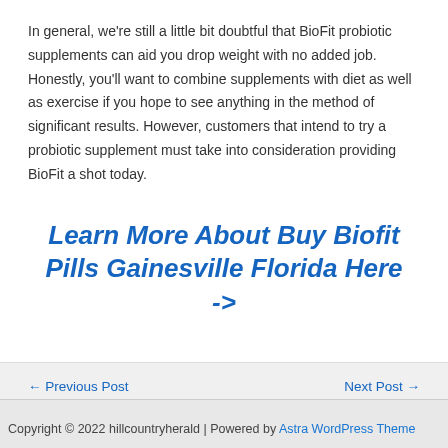In general, we're still a little bit doubtful that BioFit probiotic supplements can aid you drop weight with no added job. Honestly, you'll want to combine supplements with diet as well as exercise if you hope to see anything in the method of significant results. However, customers that intend to try a probiotic supplement must take into consideration providing BioFit a shot today.
Learn More About Buy Biofit Pills Gainesville Florida Here ->
← Previous Post
Next Post →
Copyright © 2022 hillcountryherald | Powered by Astra WordPress Theme